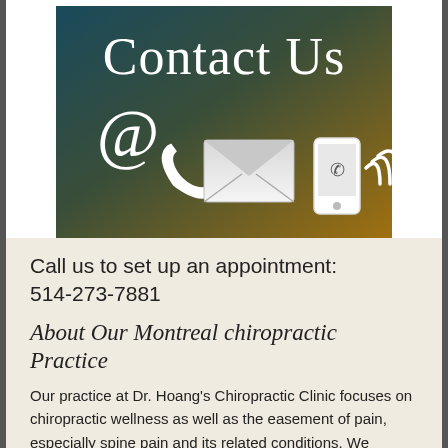[Figure (illustration): Contact Us banner image with gradient background (teal to dark gold), showing large 'Contact Us' text and icons: @ symbol, phone handset, envelope/mail, and mobile phone with signal waves.]
Call us to set up an appointment: 514-273-7881
About Our Montreal chiropractic Practice
Our practice at Dr. Hoang's Chiropractic Clinic focuses on chiropractic wellness as well as the easement of pain, especially spine pain and its related conditions. We administer comprehensive care for back pain, neck pain, headaches,